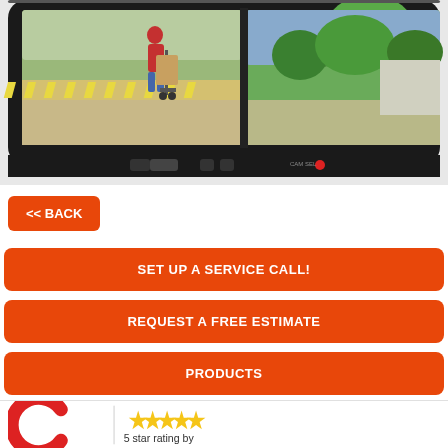[Figure (photo): Rearview mirror backup camera monitor showing a person with a hand truck/dolly loading boxes, with a split-screen view. The monitor has buttons on the bottom edge and a red LED indicator.]
<< BACK
SET UP A SERVICE CALL!
REQUEST A FREE ESTIMATE
PRODUCTS
BACK UP CAMERA SYSTEMS
ROCKFORD IL LOVES PARK IL MACHESNEY PARK IL
[Figure (other): Partial view of a review/rating section showing a red logo (C shape) and 5 gold stars with text '5 star rating by']